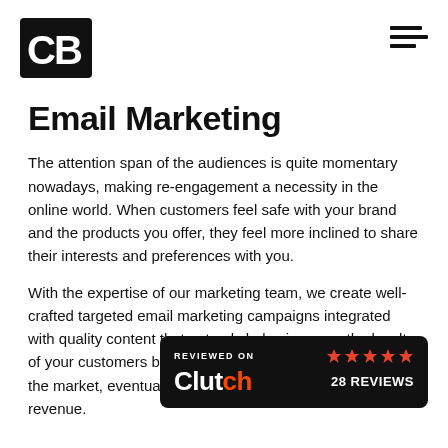[Figure (logo): CB logo — black square with white bold letters C and B inside]
Email Marketing
The attention span of the audiences is quite momentary nowadays, making re-engagement a necessity in the online world. When customers feel safe with your brand and the products you offer, they feel more inclined to share their interests and preferences with you.
With the expertise of our marketing team, we create well-crafted targeted email marketing campaigns integrated with quality content that not only helps increase the loyalty of your customers but also reinforces your brand's value in the market, eventually leading to an increase in the revenue.
[Figure (logo): Clutch badge: black rounded rectangle with 'REVIEWED ON' text, 5 red stars, Clutch logo in white with red 'tch', and '28 REVIEWS' text]